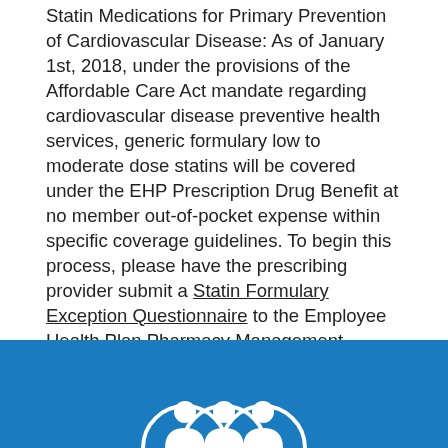Statin Medications for Primary Prevention of Cardiovascular Disease: As of January 1st, 2018, under the provisions of the Affordable Care Act mandate regarding cardiovascular disease preventive health services, generic formulary low to moderate dose statins will be covered under the EHP Prescription Drug Benefit at no member out-of-pocket expense within specific coverage guidelines. To begin this process, please have the prescribing provider submit a Statin Formulary Exception Questionnaire to the Employee Health Plan Pharmacy Management Department. All requests must meet the clinical criteria approved by the EHP Pharmacy and Therapeutics (P&T) Committee before approval is granted. Additional information can be found in the EHP Drug Formulary Book (link above).
[Figure (other): Blue footer band with partial circular social media or contact icons visible at the bottom center]